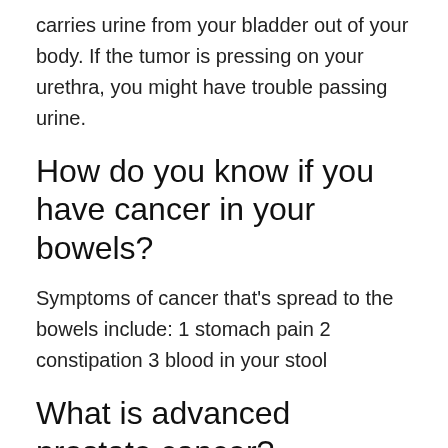carries urine from your bladder out of your body. If the tumor is pressing on your urethra, you might have trouble passing urine.
How do you know if you have cancer in your bowels?
Symptoms of cancer that's spread to the bowels include: 1 stomach pain 2 constipation 3 blood in your stool
What is advanced prostate cancer?
Advanced prostate cancer, also called